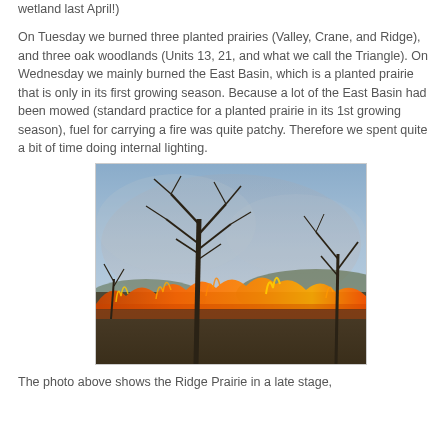wetland last April!)
On Tuesday we burned three planted prairies (Valley, Crane, and Ridge), and three oak woodlands (Units 13, 21, and what we call the Triangle). On Wednesday we mainly burned the East Basin, which is a planted prairie that is only in its first growing season. Because a lot of the East Basin had been mowed (standard practice for a planted prairie in its 1st growing season), fuel for carrying a fire was quite patchy. Therefore we spent quite a bit of time doing internal lighting.
[Figure (photo): A prairie fire burning at dusk or early evening. Flames and orange fire run across the foreground through dry grasses. Two bare trees stand in the middle ground against a hazy, smoky blue-grey sky.]
The photo above shows the Ridge Prairie in a late stage,